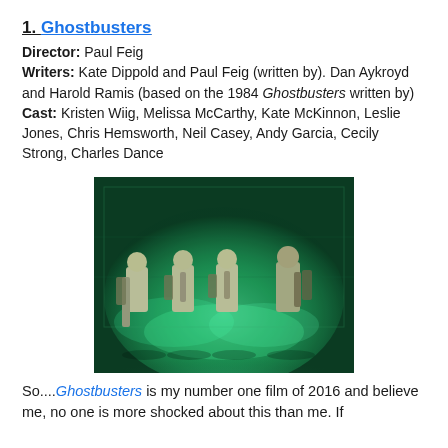1. Ghostbusters
Director: Paul Feig
Writers: Kate Dippold and Paul Feig (written by). Dan Aykroyd and Harold Ramis (based on the 1984 Ghostbusters written by)
Cast: Kristen Wiig, Melissa McCarthy, Kate McKinnon, Leslie Jones, Chris Hemsworth, Neil Casey, Andy Garcia, Cecily Strong, Charles Dance
[Figure (photo): Four Ghostbusters standing in a row in glowing green fog, wearing beige jumpsuits and carrying proton pack equipment.]
So....Ghostbusters is my number one film of 2016 and believe me, no one is more shocked about this than me. If